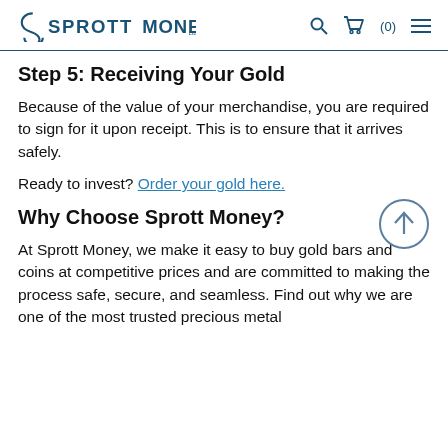SprootMoney | cart (0) | menu
Step 5: Receiving Your Gold
Because of the value of your merchandise, you are required to sign for it upon receipt. This is to ensure that it arrives safely.
Ready to invest? Order your gold here.
Why Choose Sprott Money?
At Sprott Money, we make it easy to buy gold bars and coins at competitive prices and are committed to making the process safe, secure, and seamless. Find out why we are one of the most trusted precious metal